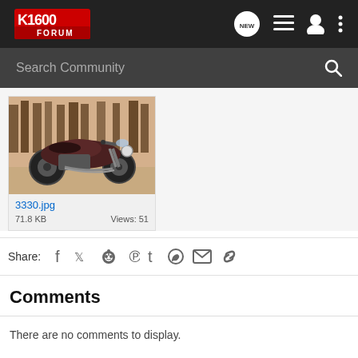K1600 Forum
Search Community
[Figure (photo): A vintage motorcycle (appears to be a classic sport/touring bike) parked outdoors with trees in the background. The photo has a warm, slightly faded tone.]
3330.jpg
71.8 KB Views: 51
Share:
Comments
There are no comments to display.